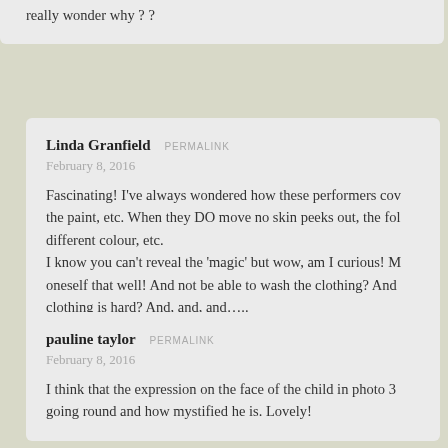really wonder why ? ?
Linda Granfield  PERMALINK
February 8, 2016
Fascinating! I've always wondered how these performers cov the paint, etc. When they DO move no skin peeks out, the fol different colour, etc.
I know you can't reveal the 'magic' but wow, am I curious! M oneself that well! And not be able to wash the clothing? And clothing is hard? And, and, and…..
pauline taylor  PERMALINK
February 8, 2016
I think that the expression on the face of the child in photo 3 going round and how mystified he is. Lovely!